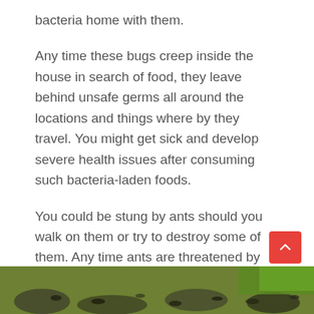bacteria home with them.
Any time these bugs creep inside the house in search of food, they leave behind unsafe germs all around the locations and things where by they travel. You might get sick and develop severe health issues after consuming such bacteria-laden foods.
You could be stung by ants should you walk on them or try to destroy some of them. Any time ants are threatened by people, they sting. The stings could cause skin to swell, leading to breakouts around the affected region.
[Figure (photo): Close-up photograph of ants on ground with green foliage in background]